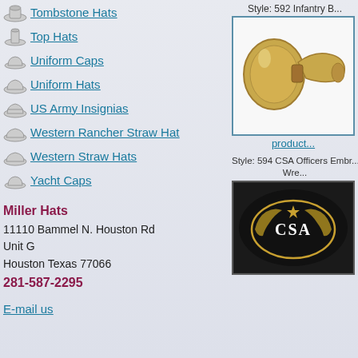Tombstone Hats
Top Hats
Uniform Caps
Uniform Hats
US Army Insignias
Western Rancher Straw Hat
Western Straw Hats
Yacht Caps
Miller Hats
11110 Bammel N. Houston Rd
Unit G
Houston Texas 77066
281-587-2295
E-mail us
[Figure (photo): Style: 592 Infantry Bugle insignia - gold colored bugle/horn on white background]
Style: 592 Infantry B...
product...
[Figure (photo): Style: 594 CSA Officers Embroidered Wreath - black oval patch with gold embroidery and CSA letters]
Style: 594 CSA Officers Embr... Wre...